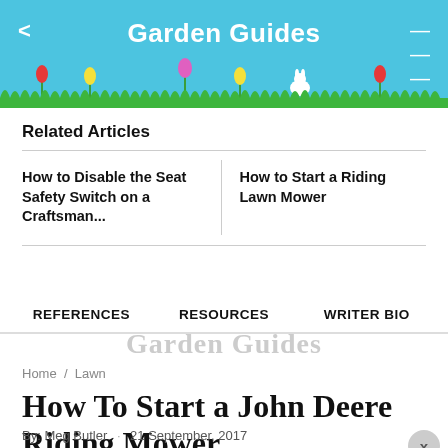Garden Guides
Related Articles
How to Disable the Seat Safety Switch on a Craftsman...
How to Start a Riding Lawn Mower
REFERENCES   RESOURCES   WRITER BIO
[Figure (logo): Garden Guides watermark logo text in light gray]
Home / Lawn
How To Start a John Deere Riding Mower
By: Meg Butler · 21 September, 2017